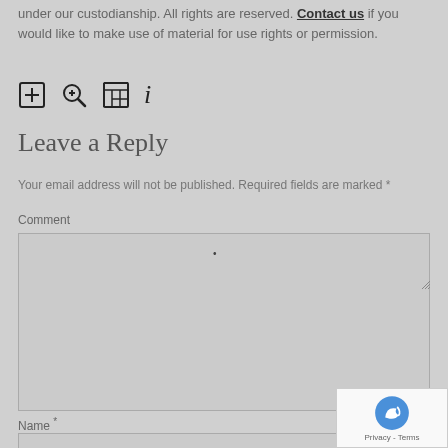under our custodianship. All rights are reserved. Contact us if you would like to make use of material for use rights or permission.
[Figure (other): Row of four icons: plus-in-box, magnifying glass with plus, a table/grid icon, and letter i]
Leave a Reply
Your email address will not be published. Required fields are marked *
Comment
Name *
[Figure (other): reCAPTCHA badge with logo and Privacy - Terms text]